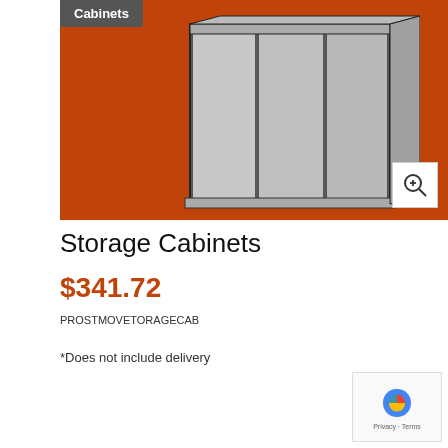[Figure (photo): Product image of storage cabinets against an orange/rust background, with a dark gray banner reading 'Cabinets' in white text at top left, and a zoom icon in the bottom right corner.]
Storage Cabinets
$341.72
PROSTMOVETORAGECAB
*Does not include delivery